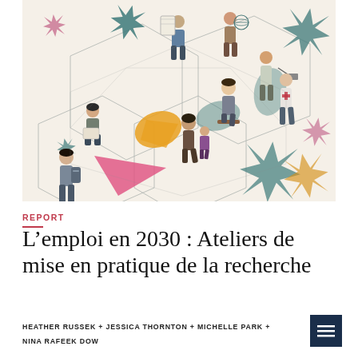[Figure (illustration): Cover illustration showing multiple people of diverse backgrounds on an isometric grid layout. Colorful star shapes in teal, orange/yellow, pink, and purple scattered throughout. People include a student sitting reading, a person with a skateboard, someone walking with a child, a person with a backpack, researchers with equipment, and others. Background is cream/beige with geometric hexagonal floor tiles outlined in pen/ink style.]
REPORT
L’emploi en 2030 : Ateliers de mise en pratique de la recherche
HEATHER RUSSEK + JESSICA THORNTON + MICHELLE PARK + NINA RAFEEK DOW